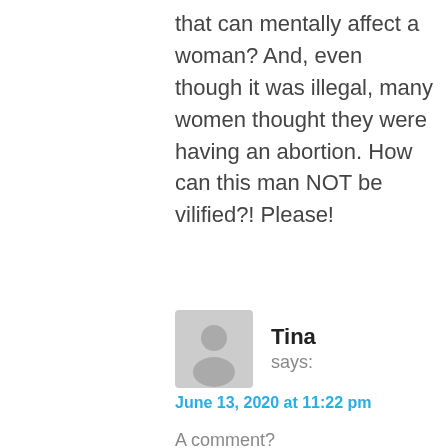that can mentally affect a woman? And, even though it was illegal, many women thought they were having an abortion. How can this man NOT be vilified?! Please!
Tina says: June 13, 2020 at 11:22 pm
A comment?